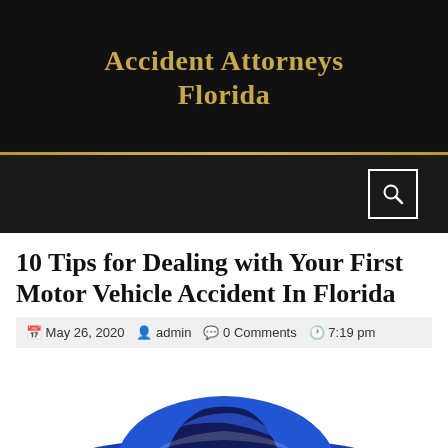Accident Attorneys Florida
[Figure (screenshot): Navigation bar with search icon (magnifying glass in white square) on dark background]
10 Tips for Dealing with Your First Motor Vehicle Accident In Florida
May 26, 2020   admin   0 Comments   7:19 pm
[Figure (illustration): Partial illustration of a blue sports car / vehicle from the front angle]